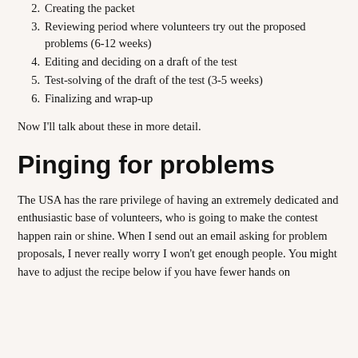2. Creating the packet
3. Reviewing period where volunteers try out the proposed problems (6-12 weeks)
4. Editing and deciding on a draft of the test
5. Test-solving of the draft of the test (3-5 weeks)
6. Finalizing and wrap-up
Now I'll talk about these in more detail.
Pinging for problems
The USA has the rare privilege of having an extremely dedicated and enthusiastic base of volunteers, who is going to make the contest happen rain or shine. When I send out an email asking for problem proposals, I never really worry I won't get enough people. You might have to adjust the recipe below if you have fewer hands on